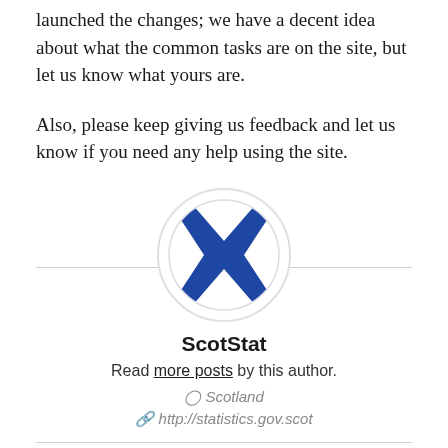launched the changes; we have a decent idea about what the common tasks are on the site, but let us know what yours are.
Also, please keep giving us feedback and let us know if you need any help using the site.
[Figure (logo): Circular avatar with Scotland flag (blue saltire cross on white background) for ScotStat author]
ScotStat
Read more posts by this author.
📎 Scotland
http://statistics.gov.scot
Share this post